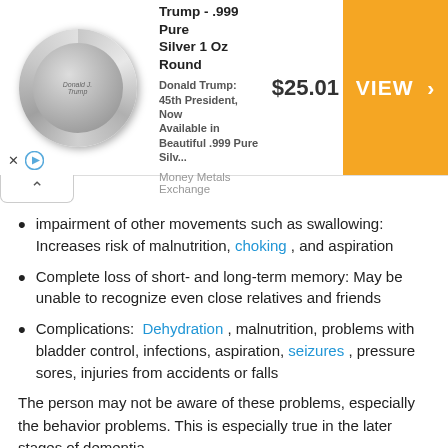[Figure (other): Advertisement banner: President Trump .999 Pure Silver 1 Oz Round coin product ad with price $25.01 and VIEW button, from Money Metals Exchange]
impairment of other movements such as swallowing: Increases risk of malnutrition, choking, and aspiration
Complete loss of short- and long-term memory: May be unable to recognize even close relatives and friends
Complications: Dehydration, malnutrition, problems with bladder control, infections, aspiration, seizures, pressure sores, injuries from accidents or falls
The person may not be aware of these problems, especially the behavior problems. This is especially true in the later stages of dementia.